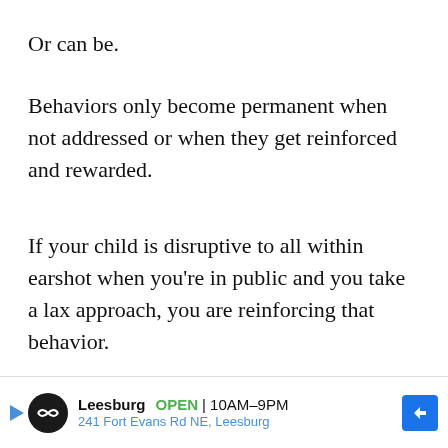Or can be.
Behaviors only become permanent when not addressed or when they get reinforced and rewarded.
If your child is disruptive to all within earshot when you’re in public and you take a lax approach, you are reinforcing that behavior.
That ensures they will continue to behave that way.
[Figure (other): Advertisement banner for Leesburg store showing OPEN 10AM-9PM at 241 Fort Evans Rd NE, Leesburg with navigation arrow icon]